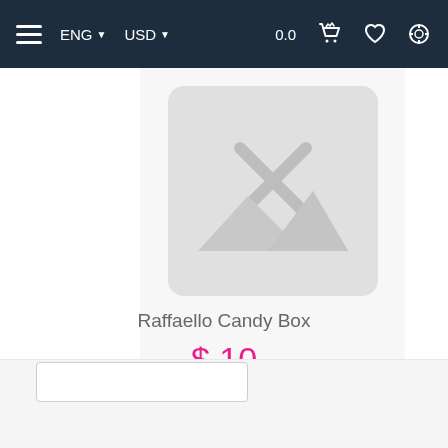ENG | USD | 0.0 [cart] [wishlist] [search]
[Figure (screenshot): Broken image placeholder icon — grey rounded square with an X and mountain silhouette]
Raffaello Candy Box
$ 10
ADD TO CART